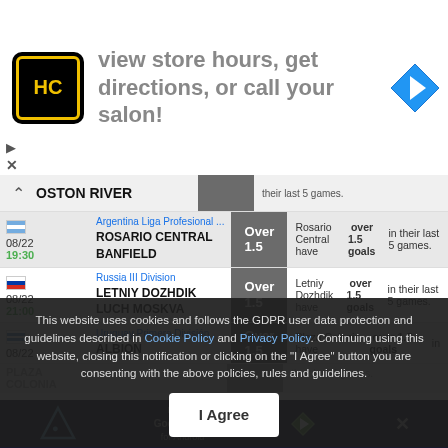[Figure (screenshot): Advertisement banner: HC logo, text 'view store hours, get directions, or call your salon!', blue navigation arrow icon, play/close controls]
BOSTON RIVER — their last 5 games. [partial row]
Argentina Liga Profesional ... | 08/22 19:30 | ROSARIO CENTRAL / BANFIELD | Over 1.5 | Rosario Central have over 1.5 goals in their last 5 games.
Russia III Division | 08/22 21:00 | LETNIY DOZHDIK / LUCH MOSKVA | Over 1.5 | Letniy Dozhdik have over 1.5 goals in their last 5 games.
Uruguay Primera División | 08/22 | ALBION / PLAZA COLONIA | Over 1.5 | Plaza Colonia have over 1.5 goals in their last 5 games.
This website uses cookies and follows the GDPR user data protection and guidelines described in Cookie Policy and Privacy Policy. Continuing using this website, closing this notification or clicking on the "I Agree" button you are consenting with the above policies, rules and guidelines.
I Agree
[Figure (screenshot): Bottom app bar: Find on Google Play for Android, play icon, close X]